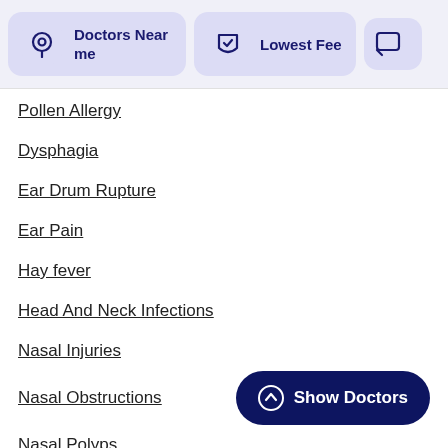[Figure (screenshot): Top navigation/filter bar with 'Doctors Near me' button (location pin icon, lavender background), 'Lowest Fee' button (shield icon, lavender background), and a partially visible third button — all styled as rounded cards.]
Pollen Allergy
Dysphagia
Ear Drum Rupture
Ear Pain
Hay fever
Head And Neck Infections
Nasal Injuries
Nasal Obstructions
Nasal Polyps
Rhinitis